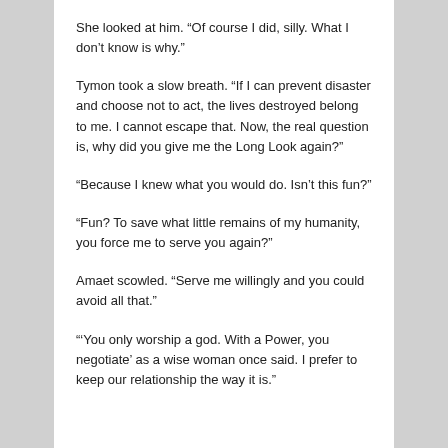She looked at him. “Of course I did, silly. What I don’t know is why.”
Tymon took a slow breath. “If I can prevent disaster and choose not to act, the lives destroyed belong to me. I cannot escape that. Now, the real question is, why did you give me the Long Look again?”
“Because I knew what you would do. Isn’t this fun?”
“Fun? To save what little remains of my humanity, you force me to serve you again?”
Amaet scowled. “Serve me willingly and you could avoid all that.”
“‘You only worship a god. With a Power, you negotiate’ as a wise woman once said. I prefer to keep our relationship the way it is.”